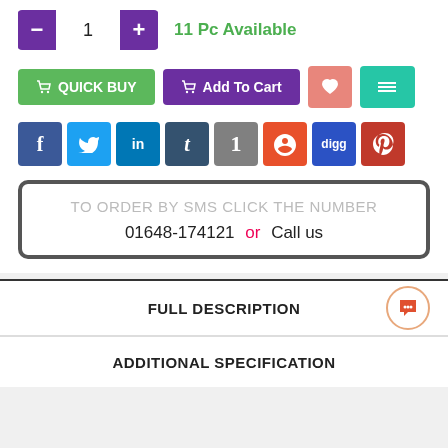[Figure (screenshot): Quantity selector with minus button, input field showing 1, and plus button in purple. Text '11 Pc Available' in green.]
[Figure (screenshot): Action buttons: green QUICK BUY, purple Add To Cart, salmon heart/wishlist, teal compare buttons.]
[Figure (screenshot): Social sharing icons row: Facebook, Twitter, LinkedIn, Tumblr, a number 1 icon, StumbleUpon, Digg, Pinterest.]
TO ORDER BY SMS CLICK THE NUMBER
01648-174121  or  Call us
FULL DESCRIPTION
ADDITIONAL SPECIFICATION